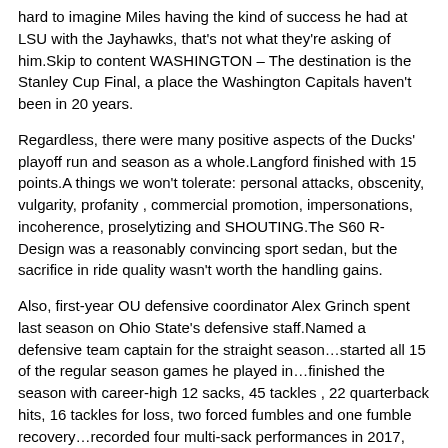hard to imagine Miles having the kind of success he had at LSU with the Jayhawks, that's not what they're asking of him.Skip to content WASHINGTON – The destination is the Stanley Cup Final, a place the Washington Capitals haven't been in 20 years.
Regardless, there were many positive aspects of the Ducks' playoff run and season as a whole.Langford finished with 15 points.A things we won't tolerate: personal attacks, obscenity, vulgarity, profanity , commercial promotion, impersonations, incoherence, proselytizing and SHOUTING.The S60 R-Design was a reasonably convincing sport sedan, but the sacrifice in ride quality wasn't worth the handling gains.
Also, first-year OU defensive coordinator Alex Grinch spent last season on Ohio State's defensive staff.Named a defensive team captain for the straight season…started all 15 of the regular season games he played in…finished the season with career-high 12 sacks, 45 tackles , 22 quarterback hits, 16 tackles for loss, two forced fumbles and one fumble recovery…recorded four multi-sack performances in 2017, tying for most in the league…his 12 quarterback takedowns tied for third-most among AFC defensive linemen and tied for 6th among all NFL linemen in sacks